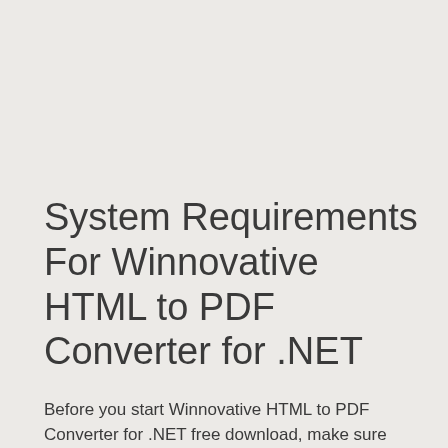System Requirements For Winnovative HTML to PDF Converter for .NET
Before you start Winnovative HTML to PDF Converter for .NET free download, make sure your PC meets minimum system requirements.
Operating System: Windows 7/8/8.1/10